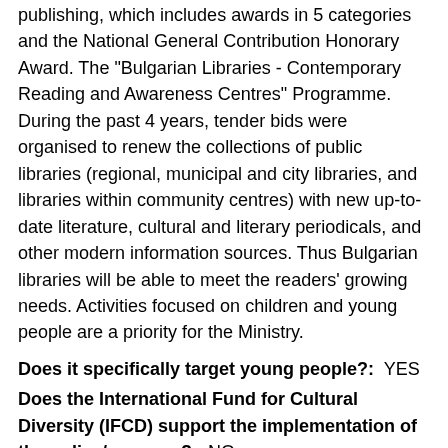publishing, which includes awards in 5 categories and the National General Contribution Honorary Award. The "Bulgarian Libraries - Contemporary Reading and Awareness Centres" Programme. During the past 4 years, tender bids were organised to renew the collections of public libraries (regional, municipal and city libraries, and libraries within community centres) with new up-to-date literature, cultural and literary periodicals, and other modern information sources. Thus Bulgarian libraries will be able to meet the readers' growing needs. Activities focused on children and young people are a priority for the Ministry.
Does it specifically target young people?: YES
Does the International Fund for Cultural Diversity (IFCD) support the implementation of the policy/measure?: NO
What are the results achieved so far through the implementation of the policy/measure?:
"Book Aid" - Calls for proposals were held to finance publishing activities. On average, 60 projects are supported annually in various directions: Bulgarian and translated